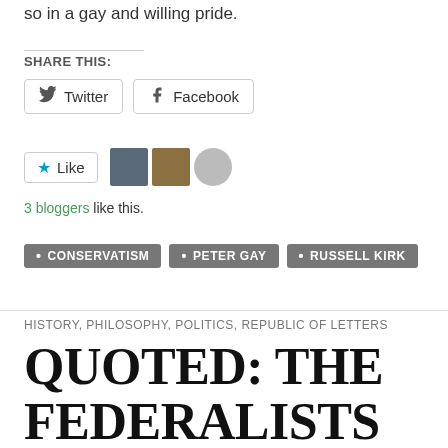so in a gay and willing pride.
SHARE THIS:
[Figure (screenshot): Twitter and Facebook share buttons]
[Figure (screenshot): Like button with star icon and three blogger avatars]
3 bloggers like this.
CONSERVATISM · PETER GAY · RUSSELL KIRK
HISTORY, PHILOSOPHY, POLITICS, REPUBLIC OF LETTERS
QUOTED: THE FEDERALISTS AND